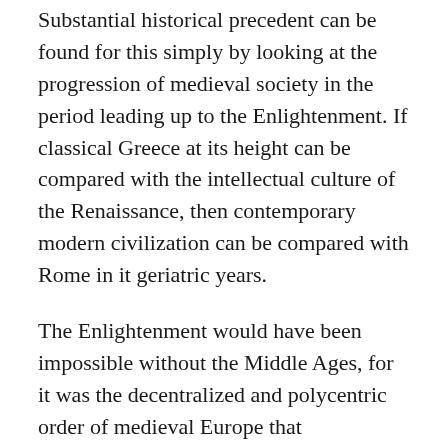Substantial historical precedent can be found for this simply by looking at the progression of medieval society in the period leading up to the Enlightenment. If classical Greece at its height can be compared with the intellectual culture of the Renaissance, then contemporary modern civilization can be compared with Rome in it geriatric years.
The Enlightenment would have been impossible without the Middle Ages, for it was the decentralized and polycentric order of medieval Europe that inadvertently provided the cultural framework for the intellectual development that characterized the Enlightenment.(55) The most important characteristic of medieval society was the lack of a significant concentration of power. The